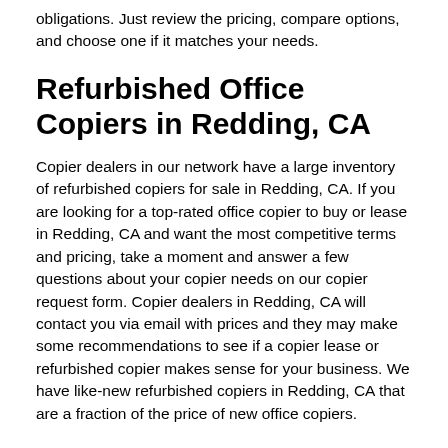obligations. Just review the pricing, compare options, and choose one if it matches your needs.
Refurbished Office Copiers in Redding, CA
Copier dealers in our network have a large inventory of refurbished copiers for sale in Redding, CA. If you are looking for a top-rated office copier to buy or lease in Redding, CA and want the most competitive terms and pricing, take a moment and answer a few questions about your copier needs on our copier request form. Copier dealers in Redding, CA will contact you via email with prices and they may make some recommendations to see if a copier lease or refurbished copier makes sense for your business. We have like-new refurbished copiers in Redding, CA that are a fraction of the price of new office copiers.